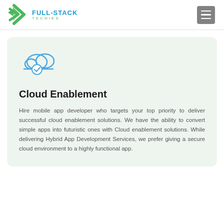[Figure (logo): Full-Stack Techies logo with green arrow/chevron icon and blue FULL-STACK text with green TECHIES subtext]
[Figure (other): Hamburger menu icon (three horizontal lines) in a grey square button]
[Figure (illustration): Cloud with a checkmark shield icon in blue outline style]
Cloud Enablement
Hire mobile app developer who targets your top priority to deliver successful cloud enablement solutions. We have the ability to convert simple apps into futuristic ones with Cloud enablement solutions. While delivering Hybrid App Development Services, we prefer giving a secure cloud environment to a highly functional app.